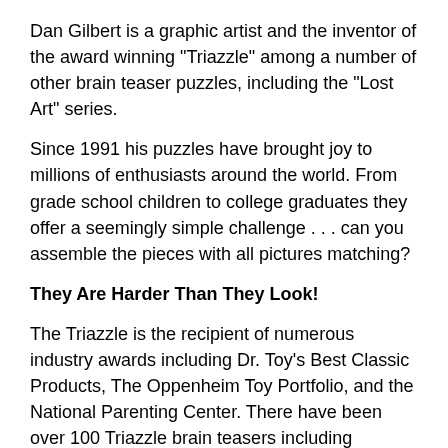Dan Gilbert is a graphic artist and the inventor of the award winning "Triazzle" among a number of other brain teaser puzzles, including the "Lost Art" series.
Since 1991 his puzzles have brought joy to millions of enthusiasts around the world. From grade school children to college graduates they offer a seemingly simple challenge . . . can you assemble the pieces with all pictures matching?
They Are Harder Than They Look!
The Triazzle is the recipient of numerous industry awards including Dr. Toy's Best Classic Products, The Oppenheim Toy Portfolio, and the National Parenting Center. There have been over 100 Triazzle brain teasers including computer games and smartphone apps. Triazzle was invented and designed by Dan Gilbert.